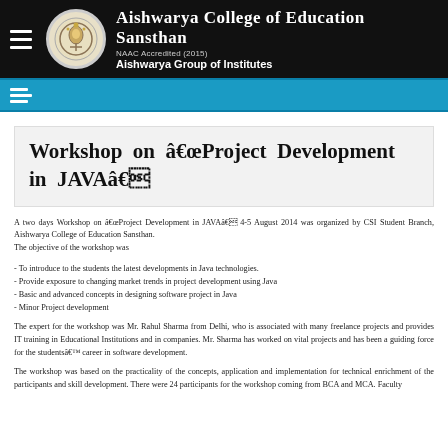Aishwarya College of Education Sansthan | NAAC Accredited (2015) | Aishwarya Group of Institutes
Workshop on â€œProject Development in JAVAâ€
A two days Workshop on â€œProject Development in JAVAâ€ 4-5 August 2014 was organized by CSI Student Branch, Aishwarya College of Education Sansthan.
The objective of the workshop was
- To introduce to the students the latest developments in Java technologies.
- Provide exposure to changing market trends in project development using Java
- Basic and advanced concepts in designing software project in Java
- Minor Project development
The expert for the workshop was Mr. Rahul Sharma from Delhi, who is associated with many freelance projects and provides IT training in Educational Institutions and in companies. Mr. Sharma has worked on vital projects and has been a guiding force for the studentsâ€™ career in software development.
The workshop was based on the practicality of the concepts, application and implementation for technical enrichment of the participants and skill development. There were 24 participants for the workshop coming from BCA and MCA. Faculty